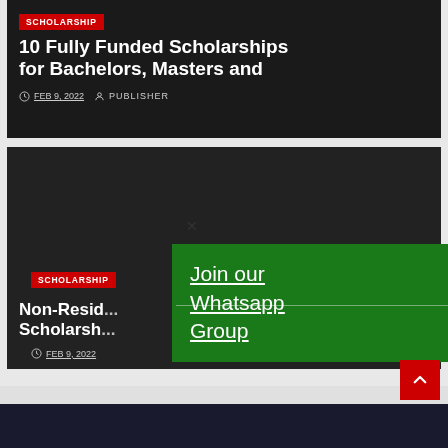SCHOLARSHIP
10 Fully Funded Scholarships for Bachelors, Masters and
FEB 9, 2022   PUBLISHER
SCHOLARSHIP
Non-Resid... Scholarsh...
FEB 9, 2022
Join our Whatsapp Group